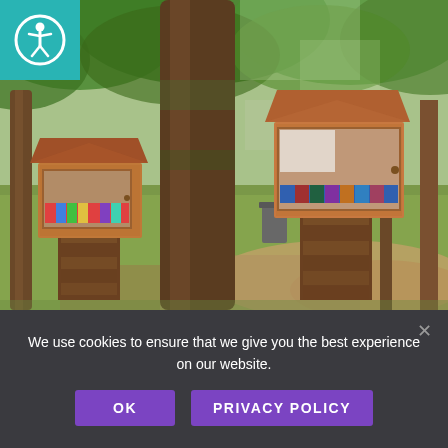[Figure (photo): Outdoor park scene with two Little Free Library book boxes mounted on wooden pedestals, surrounded by large trees and green grass. A teal accessibility icon is overlaid in the top-left corner.]
We use cookies to ensure that we give you the best experience on our website.
OK
PRIVACY POLICY